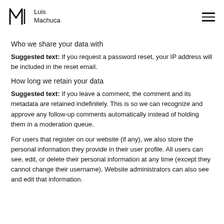Luis Machuca
Who we share your data with
Suggested text: If you request a password reset, your IP address will be included in the reset email.
How long we retain your data
Suggested text: If you leave a comment, the comment and its metadata are retained indefinitely. This is so we can recognize and approve any follow-up comments automatically instead of holding them in a moderation queue.
For users that register on our website (if any), we also store the personal information they provide in their user profile. All users can see, edit, or delete their personal information at any time (except they cannot change their username). Website administrators can also see and edit that information.